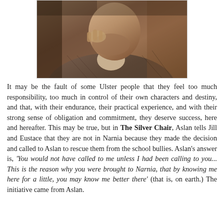[Figure (photo): Sepia-toned portrait photograph of a man, cropped to show face and upper body, wearing a tweed jacket. The image is cropped at the top, showing mostly the lower face, chin, and torso.]
It may be the fault of some Ulster people that they feel too much responsibility, too much in control of their own characters and destiny, and that, with their endurance, their practical experience, and with their strong sense of obligation and commitment, they deserve success, here and hereafter. This may be true, but in The Silver Chair, Aslan tells Jill and Eustace that they are not in Narnia because they made the decision and called to Aslan to rescue them from the school bullies. Aslan's answer is, 'You would not have called to me unless I had been calling to you... This is the reason why you were brought to Narnia, that by knowing me here for a little, you may know me better there' (that is, on earth.) The initiative came from Aslan.